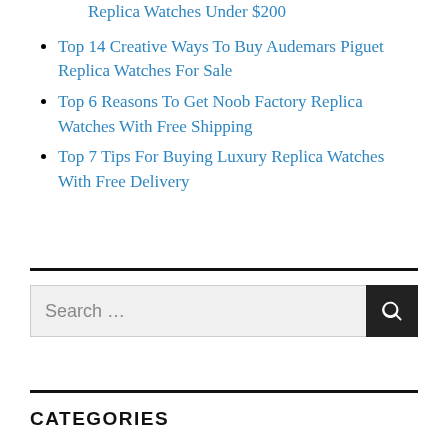Replica Watches Under $200
Top 14 Creative Ways To Buy Audemars Piguet Replica Watches For Sale
Top 6 Reasons To Get Noob Factory Replica Watches With Free Shipping
Top 7 Tips For Buying Luxury Replica Watches With Free Delivery
Search ...
CATEGORIES